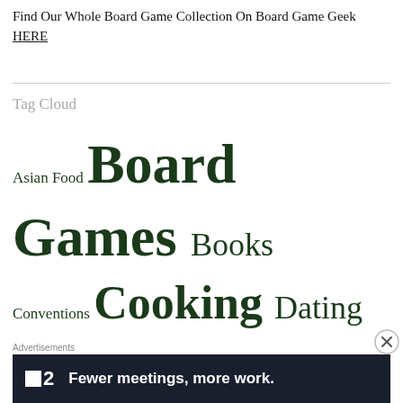Find Our Whole Board Game Collection On Board Game Geek HERE
Tag Cloud
Asian Food Board Games Books Conventions Cooking Dating Documentary Drink Food Gardening Harry Potter Holiday Kickstarter Life Event Lists Mediterranean Food Movies Podcasts Puppy Quarantine Recipes Travel Trivia TV
[Figure (other): Advertisement banner: F2 logo with text 'Fewer meetings, more work.']